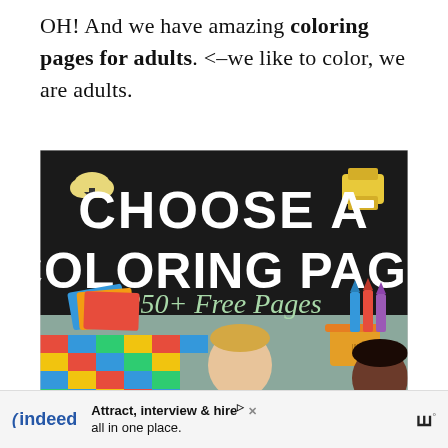OH! And we have amazing coloring pages for adults. <–we like to color, we are adults.
[Figure (illustration): Promotional banner image with black background showing text 'CHOOSE A COLORING PAGE 250+ Free Pages' with icons of a download cloud and printer in yellow, colorful crayons, and a photo of two children (a blond boy and a dark-haired girl) at a colorful checkerboard mat with crayons and a yellow basket.]
Attract, interview & hire all in one place.